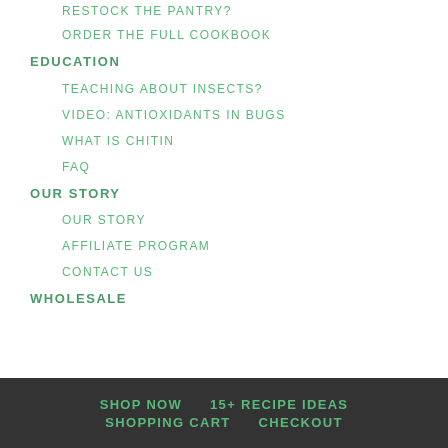RESTOCK THE PANTRY?
ORDER THE FULL COOKBOOK
EDUCATION
TEACHING ABOUT INSECTS?
VIDEO: ANTIOXIDANTS IN BUGS
WHAT IS CHITIN
FAQ
OUR STORY
OUR STORY
AFFILIATE PROGRAM
CONTACT US
WHOLESALE
SHOP NOW   15+ RECIPE IDEAS   SHOPPING CART   CHECKOUT